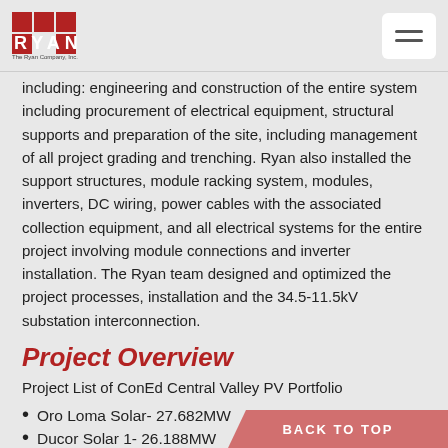Ryan – The Ryan Company, Inc.
including: engineering and construction of the entire system including procurement of electrical equipment, structural supports and preparation of the site, including management of all project grading and trenching. Ryan also installed the support structures, module racking system, modules, inverters, DC wiring, power cables with the associated collection equipment, and all electrical systems for the entire project involving module connections and inverter installation. The Ryan team designed and optimized the project processes, installation and the 34.5-11.5kV substation interconnection.
Project Overview
Project List of ConEd Central Valley PV Portfolio
Oro Loma Solar- 27.682MW
Ducor Solar 1- 26.188MW
Ducor Solar 2- 26.188MW
Ducor Solar 3- 19.646MW